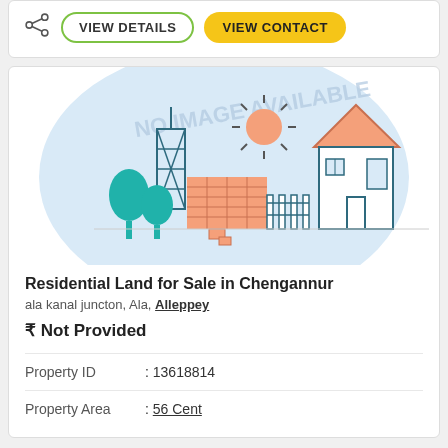[Figure (illustration): Share icon and two buttons: VIEW DETAILS (green outline) and VIEW CONTACT (yellow fill)]
[Figure (illustration): Real estate property illustration with house, brick wall, trees, sun, construction towers, and NO IMAGE AVAILABLE watermark text]
Residential Land for Sale in Chengannur
ala kanal juncton, Ala, Alleppey
₹ Not Provided
Property ID : 13618814
Property Area : 56 Cent